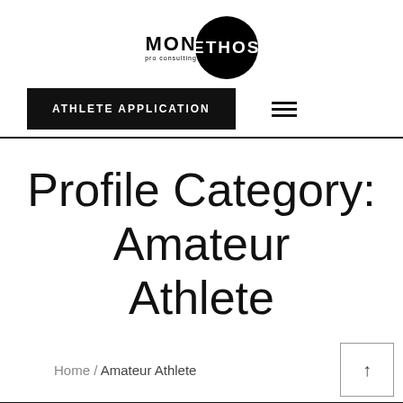[Figure (logo): Mon Ethos Pro Consulting logo — 'MON' text with 'pro consulting' below it, followed by a black circle containing 'ETHOS' in white text]
ATHLETE APPLICATION
Profile Category: Amateur Athlete
Home / Amateur Athlete